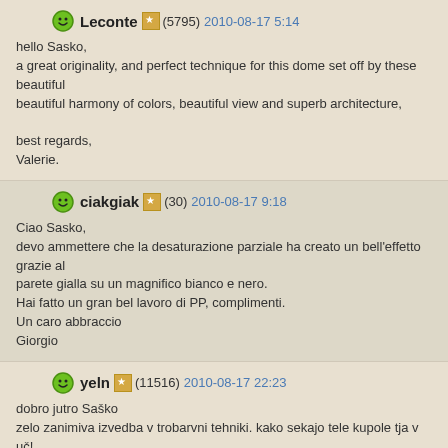Leconte (5795) 2010-08-17 5:14
hello Sasko,
a great originality, and perfect technique for this dome set off by these beautiful beautiful harmony of colors, beautiful view and superb architecture,

best regards,
Valerie.
ciakgiak (30) 2010-08-17 9:18
Ciao Sasko,
devo ammettere che la desaturazione parziale ha creato un bell'effetto grazie al parete gialla su un magnifico bianco e nero.
Hai fatto un gran bel lavoro di PP, complimenti.
Un caro abbraccio
Giorgio
yeln (11516) 2010-08-17 22:23
dobro jutro Saško
zelo zanimiva izvedba v trobarvni tehniki. kako sekajo tele kupole tja v uč!
zelo dobro in tudi zelo mi je všeč tvoja originalna ideja. ostrina je tvoja..........